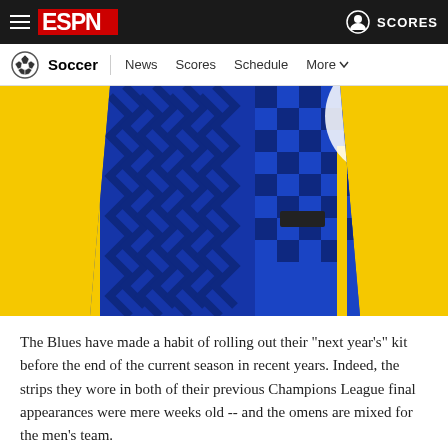ESPN - Soccer | News  Scores  Schedule  More
[Figure (photo): A blue Chelsea football kit with zigzag/checker pattern on a yellow background, photographed from above showing just the torso/body of the shirt]
The Blues have made a habit of rolling out their "next year's" kit before the end of the current season in recent years. Indeed, the strips they wore in both of their previous Champions League final appearances were mere weeks old -- and the omens are mixed for the men's team.